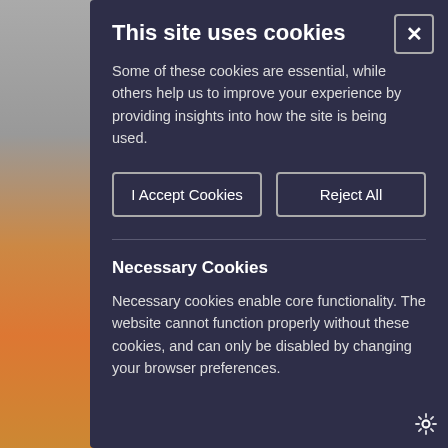This site uses cookies
Some of these cookies are essential, while others help us to improve your experience by providing insights into how the site is being used.
I Accept Cookies | Reject All
Necessary Cookies
Necessary cookies enable core functionality. The website cannot function properly without these cookies, and can only be disabled by changing your browser preferences.